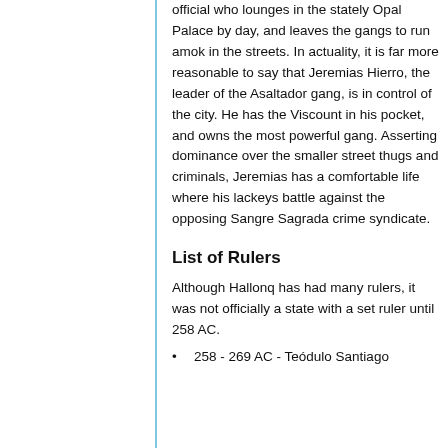official who lounges in the stately Opal Palace by day, and leaves the gangs to run amok in the streets. In actuality, it is far more reasonable to say that Jeremias Hierro, the leader of the Asaltador gang, is in control of the city. He has the Viscount in his pocket, and owns the most powerful gang. Asserting dominance over the smaller street thugs and criminals, Jeremias has a comfortable life where his lackeys battle against the opposing Sangre Sagrada crime syndicate.
List of Rulers
Although Hallonq has had many rulers, it was not officially a state with a set ruler until 258 AC.
258 - 269 AC - Teódulo Santiago